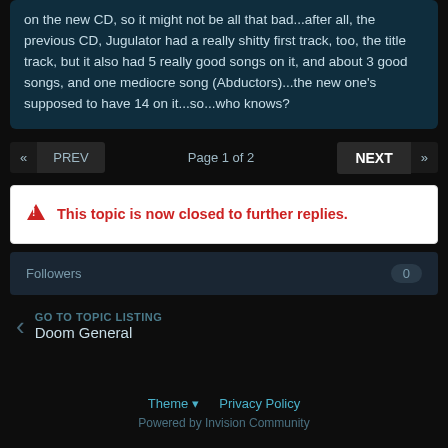on the new CD, so it might not be all that bad...after all, the previous CD, Jugulator had a really shitty first track, too, the title track, but it also had 5 really good songs on it, and about 3 good songs, and one mediocre song (Abductors)...the new one's supposed to have 14 on it...so...who knows?
PREV  Page 1 of 2  NEXT
⚠ This topic is now closed to further replies.
Followers  0
GO TO TOPIC LISTING
Doom General
Theme  Privacy Policy
Powered by Invision Community